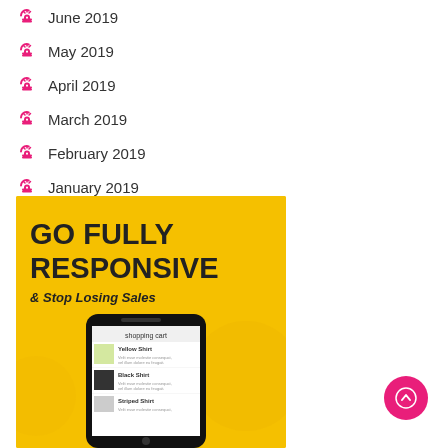June 2019
May 2019
April 2019
March 2019
February 2019
January 2019
[Figure (illustration): Promotional banner with yellow background reading 'GO FULLY RESPONSIVE & Stop Losing Sales' with a smartphone showing a shopping cart interface]